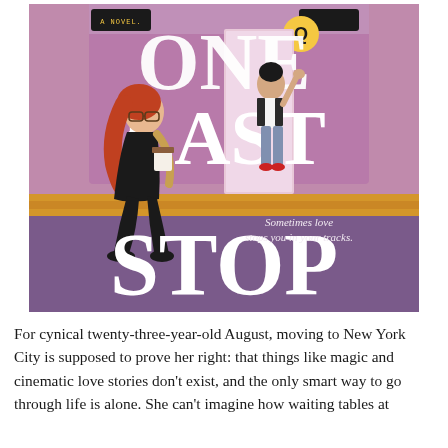[Figure (illustration): Book cover of 'One Last Stop' by Casey McQuiston — a novel. Shows two illustrated characters near a subway train: a red-haired woman in a black dress with a coffee cup walking away, and another figure waving from the train door. Large white text reads ONE LAST STOP. Subtitle: 'Sometimes love stops you in your tracks.' Q train logo visible.]
For cynical twenty-three-year-old August, moving to New York City is supposed to prove her right: that things like magic and cinematic love stories don't exist, and the only smart way to go through life is alone. She can't imagine how waiting tables at